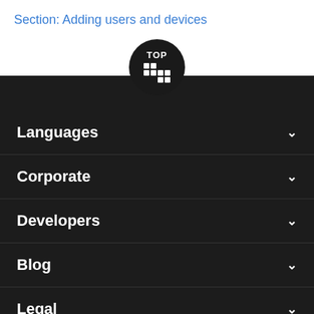Section: Adding users and devices
[Figure (logo): BlackBerry logo with TOP label inside a dark circular button]
Languages
Corporate
Developers
Blog
Legal